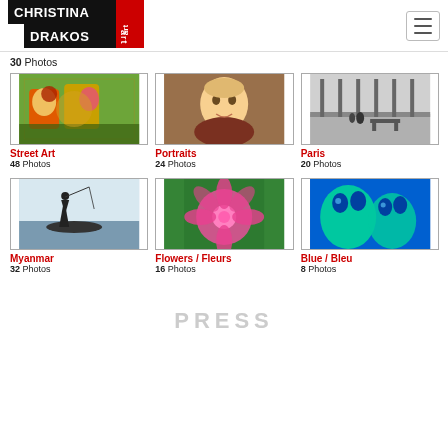[Figure (logo): Christina Drakos Art logo — black rectangle with white bold text CHRISTINA DRAKOS and a red accent block with white text 'art']
30 Photos
[Figure (photo): Colorful street art mural with figures]
Street Art
48 Photos
[Figure (photo): Portrait of a young child with short blond hair]
Portraits
24 Photos
[Figure (photo): Black and white photo of park bench and two figures]
Paris
20 Photos
[Figure (photo): Silhouette of fisherman on boat in misty water]
Myanmar
32 Photos
[Figure (photo): Close-up of pink tropical flower]
Flowers / Fleurs
16 Photos
[Figure (photo): Blue and green alien-like face art]
Blue / Bleu
8 Photos
PRESS